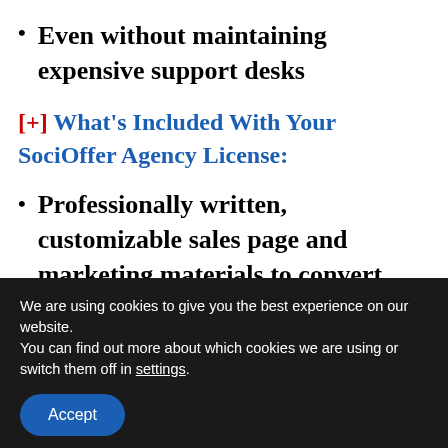Even without maintaining expensive support desks
[+] What's Included With Your SociOffer Agency License:
Professionally written, customizable sales page and marketing materials to convert prospects into PAYING customers
We are using cookies to give you the best experience on our website.
You can find out more about which cookies we are using or switch them off in settings.
Accept